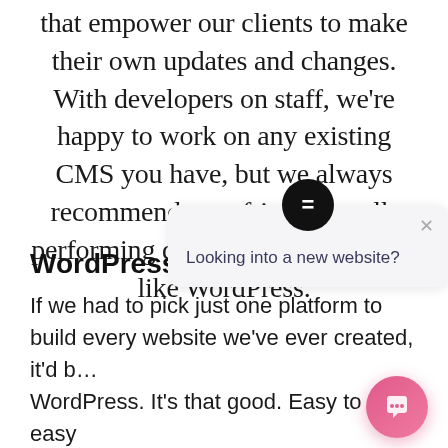that empower our clients to make their own updates and changes. With developers on staff, we're happy to work on any existing CMS you have, but we always recommend user-friendly, well-performing development platforms like WordPress.
WordPress
[Figure (screenshot): Chat widget popup with Elementor 'E' icon and text 'Looking into a new website?' with close button, and a pink circular chat button in bottom right corner.]
If we had to pick just one platform to build every website we've ever created, it'd be WordPress. It's that good. Easy to use, easy